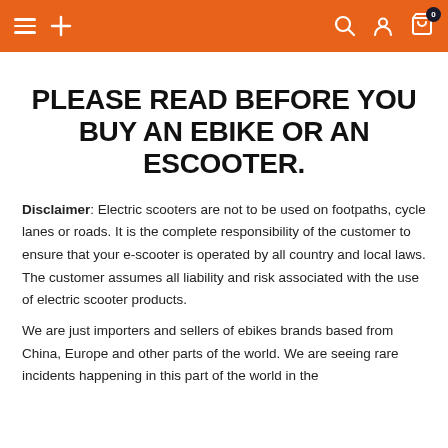Navigation bar with hamburger menu, plus icon, search, user, and cart (0) icons
PLEASE READ BEFORE YOU BUY AN EBIKE OR AN ESCOOTER.
Disclaimer: Electric scooters are not to be used on footpaths, cycle lanes or roads. It is the complete responsibility of the customer to ensure that your e-scooter is operated by all country and local laws. The customer assumes all liability and risk associated with the use of electric scooter products.
We are just importers and sellers of ebikes brands based from China, Europe and other parts of the world. We are seeing rare incidents happening in this part of the world in the